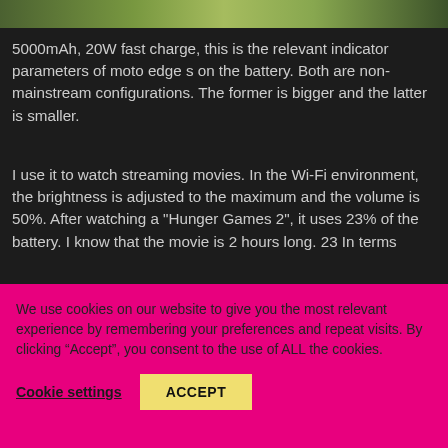[Figure (photo): Partial photo strip at top showing greenery/plant in dark background]
5000mAh, 20W fast charge, this is the relevant indicator parameters of moto edge s on the battery. Both are non-mainstream configurations. The former is bigger and the latter is smaller.
I use it to watch streaming movies. In the Wi-Fi environment, the brightness is adjusted to the maximum and the volume is 50%. After watching a "Hunger Games 2", it uses 23% of the battery. I know that the movie is 2 hours long. 23 In terms
We use cookies on our website to give you the most relevant experience by remembering your preferences and repeat visits. By clicking “Accept”, you consent to the use of ALL the cookies.
Cookie settings
ACCEPT